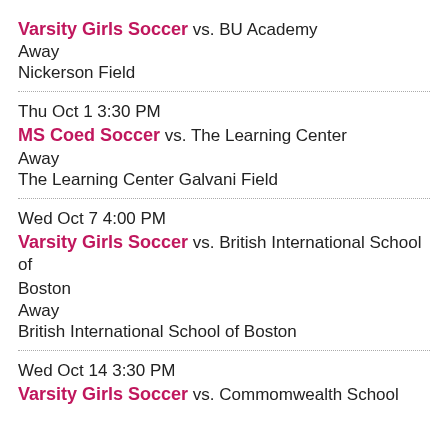Varsity Girls Soccer vs. BU Academy
Away
Nickerson Field
Thu Oct 1 3:30 PM
MS Coed Soccer vs. The Learning Center
Away
The Learning Center Galvani Field
Wed Oct 7 4:00 PM
Varsity Girls Soccer vs. British International School of Boston
Away
British International School of Boston
Wed Oct 14 3:30 PM
Varsity Girls Soccer vs. Commomwealth School